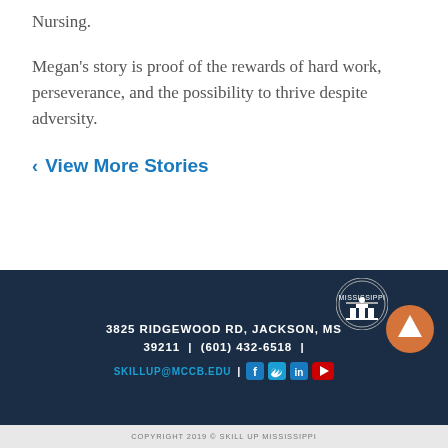Nursing.
Megan's story is proof of the rewards of hard work, perseverance, and the possibility to thrive despite adversity.
‹ View More Stories
3825 RIDGEWOOD RD, JACKSON, MS 39211 | (601) 432-6518 | SKILLUP@MCCB.EDU
COPYRIGHT 2019 © SKILL UP MISSISSIPPI